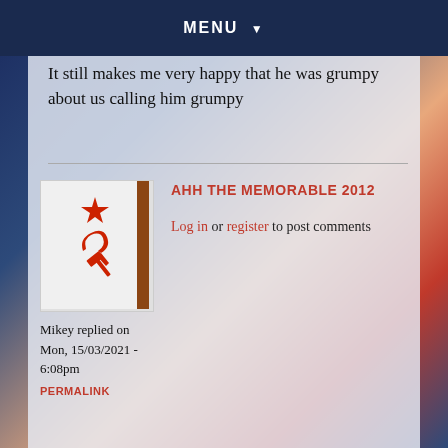MENU ▼
It still makes me very happy that he was grumpy about us calling him grumpy
[Figure (photo): Photo of a flag with a red star and hammer and sickle symbol on white background]
Mikey replied on Mon, 15/03/2021 - 6:08pm
PERMALINK
AHH THE MEMORABLE 2012
Log in or register to post comments